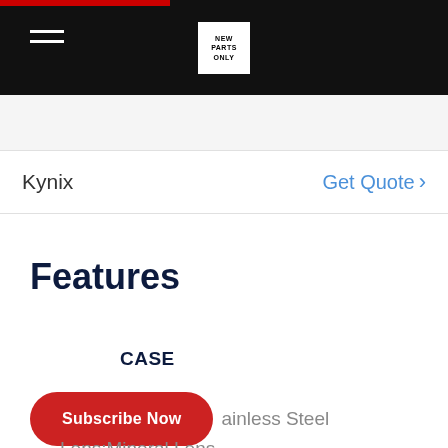NEW PARTS ONLY (logo)
Kynix
Get Quote >
Features
CASE
Subscribe Now
ainless Steel
Lens:Mineral Lens